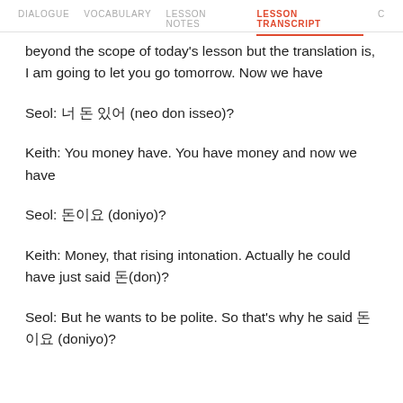DIALOGUE  VOCABULARY  LESSON NOTES  LESSON TRANSCRIPT  C
beyond the scope of today's lesson but the translation is, I am going to let you go tomorrow. Now we have
Seol: 너 돈 있어 (neo don isseo)?
Keith: You money have. You have money and now we have
Seol: 돈이요 (doniyo)?
Keith: Money, that rising intonation. Actually he could have just said 돈(don)?
Seol: But he wants to be polite. So that's why he said 돈이요 (doniyo)?